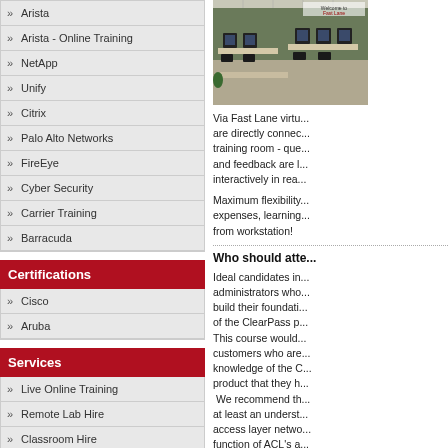Arista
Arista - Online Training
NetApp
Unify
Citrix
Palo Alto Networks
FireEye
Cyber Security
Carrier Training
Barracuda
Certifications
Cisco
Aruba
Services
Live Online Training
Remote Lab Hire
Classroom Hire
Onsite Training
Customized Training
[Figure (photo): Training room with computers and monitors at desks]
Via Fast Lane virtu... are directly connec... training room - que... and feedback are l... interactively in rea...
Maximum flexibility... expenses, learning... from workstation!
Who should atte...
Ideal candidates in... administrators who... build their foundati... of the ClearPass p... This course would... customers who are... knowledge of the C... product that they h... We recommend th... at least an underst... access layer netwo... function of ACL's a...